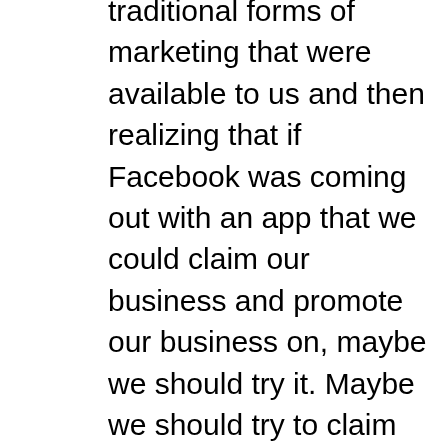traditional forms of marketing that were available to us and then realizing that if Facebook was coming out with an app that we could claim our business and promote our business on, maybe we should try it. Maybe we should try to claim our Yelp page. Maybe we should respond to Yelp reviews. And for us, learning digital marketing was key learning, digital branding and learning how to share our story online. We made so many mistakes in the beginning and we tested so many things that we got to a point where we were learning. We were learning the craft of digital marketing and by learning the craft of digital marketing and talking about who we were. You know, our brand, Cali Barbecue and our brand has evolved. We started realizing we can turn digital marketing into digital media by starting to share other people's stories.